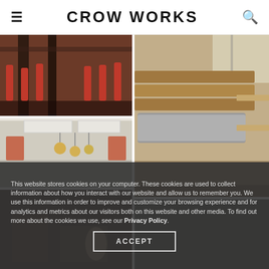CROW WORKS
[Figure (photo): Restaurant interior with red bar stools and dark structural columns]
[Figure (photo): Wooden bench seating with upholstered backs along a window wall]
[Figure (photo): Restaurant interior with pendant lights and ceiling panels]
[Figure (photo): Another restaurant or seating area interior view]
[Figure (photo): Bottom partial view of restaurant interior]
This website stores cookies on your computer. These cookies are used to collect information about how you interact with our website and allow us to remember you. We use this information in order to improve and customize your browsing experience and for analytics and metrics about our visitors both on this website and other media. To find out more about the cookies we use, see our Privacy Policy.